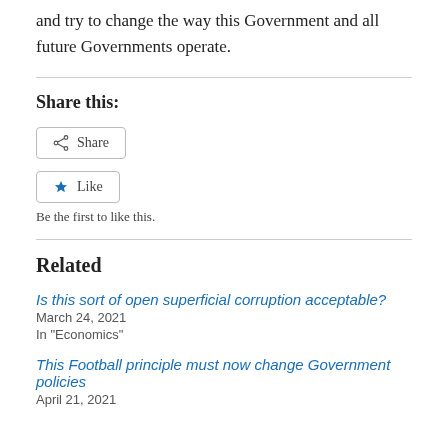and try to change the way this Government and all future Governments operate.
Share this:
[Figure (other): Share button with share icon]
[Figure (other): Like button with star icon]
Be the first to like this.
Related
Is this sort of open superficial corruption acceptable?
March 24, 2021
In "Economics"
This Football principle must now change Government policies
April 21, 2021